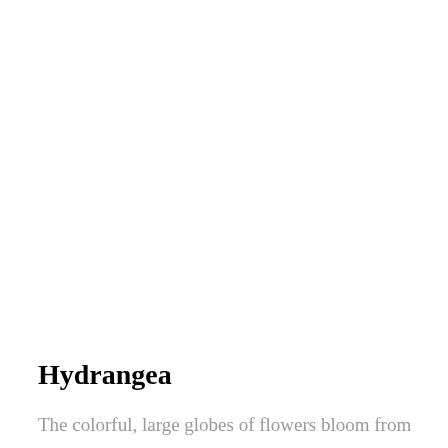Hydrangea
The colorful, large globes of flowers bloom from